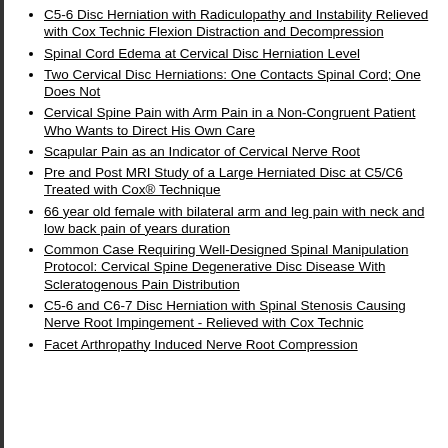C5-6 Disc Herniation with Radiculopathy and Instability Relieved with Cox Technic Flexion Distraction and Decompression
Spinal Cord Edema at Cervical Disc Herniation Level
Two Cervical Disc Herniations: One Contacts Spinal Cord; One Does Not
Cervical Spine Pain with Arm Pain in a Non-Congruent Patient Who Wants to Direct His Own Care
Scapular Pain as an Indicator of Cervical Nerve Root
Pre and Post MRI Study of a Large Herniated Disc at C5/C6 Treated with Cox® Technique
66 year old female with bilateral arm and leg pain with neck and low back pain of years duration
Common Case Requiring Well-Designed Spinal Manipulation Protocol: Cervical Spine Degenerative Disc Disease With Scleratogenous Pain Distribution
C5-6 and C6-7 Disc Herniation with Spinal Stenosis Causing Nerve Root Impingement - Relieved with Cox Technic
Facet Arthropathy Induced Nerve Root Compression